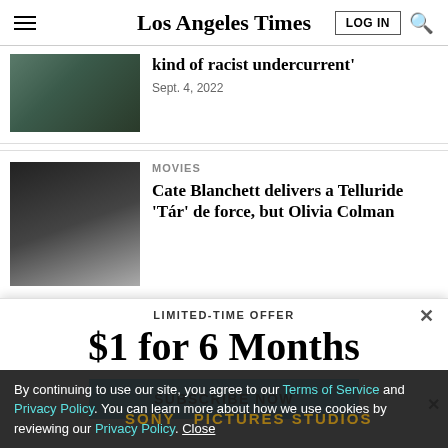Los Angeles Times
kind of racist undercurrent'
Sept. 4, 2022
MOVIES
Cate Blanchett delivers a Telluride 'Tár' de force, but Olivia Colman
LIMITED-TIME OFFER
$1 for 6 Months
SUBSCRIBE NOW
By continuing to use our site, you agree to our Terms of Service and Privacy Policy. You can learn more about how we use cookies by reviewing our Privacy Policy. Close